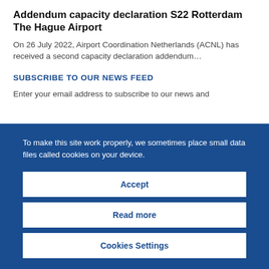Addendum capacity declaration S22 Rotterdam The Hague Airport
On 26 July 2022, Airport Coordination Netherlands (ACNL) has received a second capacity declaration addendum…
SUBSCRIBE TO OUR NEWS FEED
Enter your email address to subscribe to our news and
To make this site work properly, we sometimes place small data files called cookies on your device.
Accept
Read more
Cookies Settings